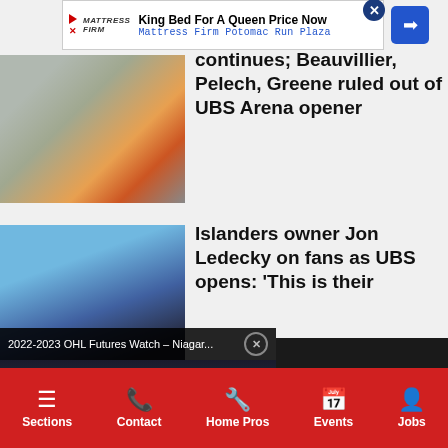[Figure (screenshot): Advertisement banner for Mattress Firm Potomac Run Plaza: King Bed For A Queen Price Now]
[Figure (photo): Hockey player in New York Islanders jersey]
continues; Beauvillier, Pelech, Greene ruled out of UBS Arena opener
[Figure (photo): Two men, one in a suit, at a press event with colorful background]
Islanders owner Jon Ledecky on fans as UBS opens: 'This is their
[Figure (screenshot): Video overlay: 2022-2023 OHL Futures Watch - Niagar... showing hockey player and 2022 Ontario Hockey League Priority Selection graphic]
Sections | Contact | Home Pros | Events | Jobs